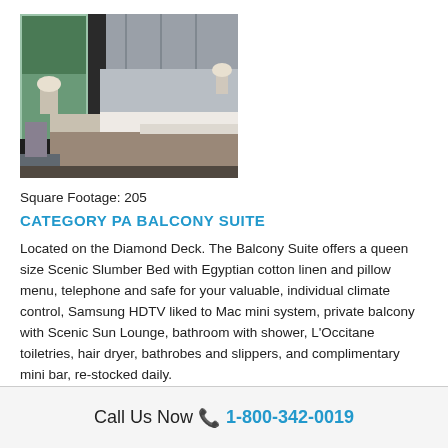[Figure (photo): Hotel/cruise ship balcony suite bedroom with large window/glass door, dark curtains, a bed with white linens and a gray/brown throw, side tables with lamps, and a view outside.]
Square Footage: 205
CATEGORY PA BALCONY SUITE
Located on the Diamond Deck. The Balcony Suite offers a queen size Scenic Slumber Bed with Egyptian cotton linen and pillow menu, telephone and safe for your valuable, individual climate control, Samsung HDTV liked to Mac mini system, private balcony with Scenic Sun Lounge, bathroom with shower, L'Occitane toiletries, hair dryer, bathrobes and slippers, and complimentary mini bar, re-stocked daily.
Call Us Now 📞 1-800-342-0019